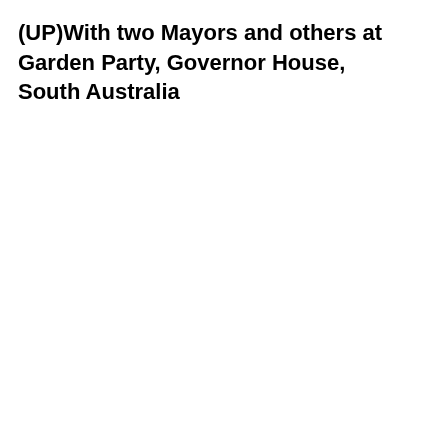(UP)With two Mayors and others at Garden Party, Governor House, South Australia